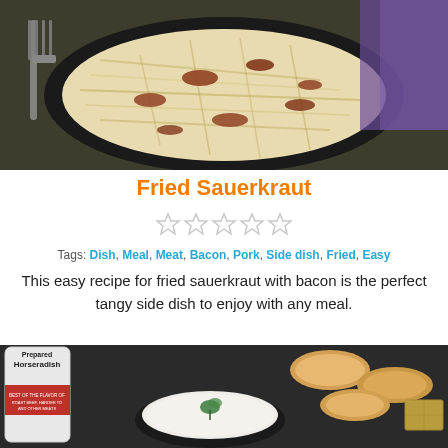[Figure (photo): Overhead shot of fried sauerkraut with bacon in a cast iron skillet, with a fork on the left side and a purple cloth in the background]
Fried Sauerkraut
[Figure (other): Five empty star rating symbols in gray]
Tags: Dish, Meal, Meat, Bacon, Pork, Side dish, Fried, Easy
This easy recipe for fried sauerkraut with bacon is the perfect tangy side dish to enjoy with any meal.
[Figure (photo): A jar of Prepared Horseradish next to a black bowl of white creamy dip garnished with parsley, surrounded by crostini and crackers on a dark surface]